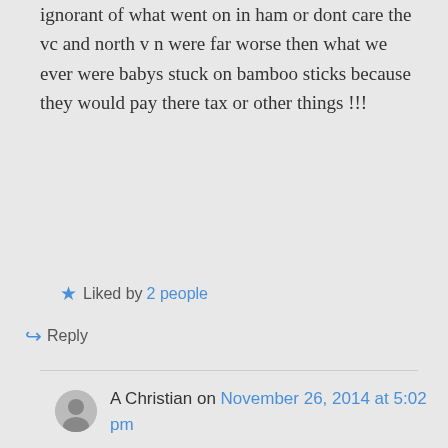ignorant of what went on in ham or dont care the vc and north v n were far worse then what we ever were babys stuck on bamboo sticks because they would pay there tax or other things !!!
Liked by 2 people
Reply
A Christian on November 26, 2014 at 5:02 pm
It is difficult to be ignorant when I experienced it. I was in the 1st Cav infantry. Spent Tet Offensive at the DMZ